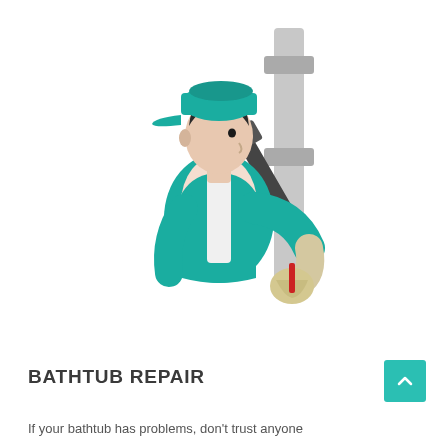[Figure (illustration): Flat vector illustration of a plumber/repair technician in teal overalls and cap, wearing work gloves and using a pipe wrench on a vertical pipe with a valve fitting.]
BATHTUB REPAIR
If your bathtub has problems, don't trust anyone